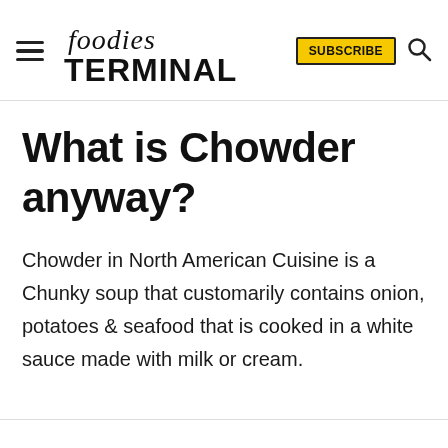foodies TERMINAL — SUBSCRIBE
What is Chowder anyway?
Chowder in North American Cuisine is a Chunky soup that customarily contains onion, potatoes & seafood that is cooked in a white sauce made with milk or cream.